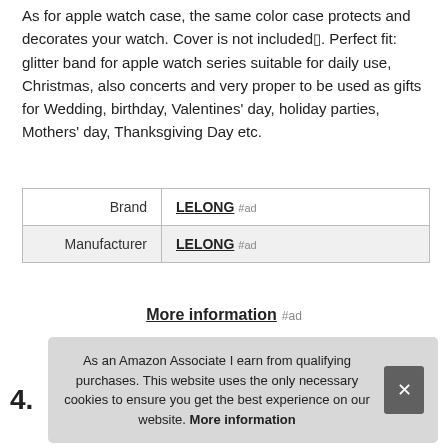As for apple watch case, the same color case protects and decorates your watch. Cover is not included⁴. Perfect fit: glitter band for apple watch series suitable for daily use, Christmas, also concerts and very proper to be used as gifts for Wedding, birthday, Valentines' day, holiday parties, Mothers' day, Thanksgiving Day etc.
|  |  |
| --- | --- |
| Brand | LELONG #ad |
| Manufacturer | LELONG #ad |
More information #ad
As an Amazon Associate I earn from qualifying purchases. This website uses the only necessary cookies to ensure you get the best experience on our website. More information